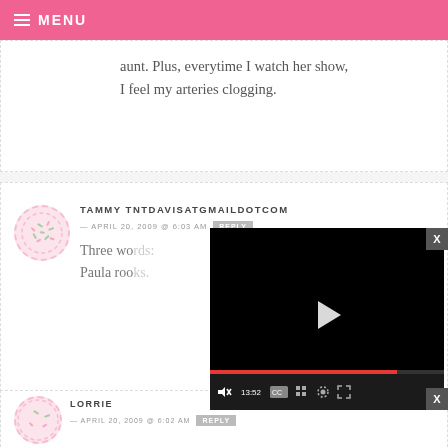MENU
aunt. Plus, everytime I watch her show, I feel my arteries clogging.
TAMMY TNTDAVISATGMAILDOTCOM
— APRIL 20, 2009 @ 6:03 AM  REPLY
Three wo... Paula roo...
[Figure (screenshot): Video player overlay showing a black video player with a play button, progress bar, timestamp 13:52, CC button, grid button, settings button, and fullscreen button. An X close button is visible.]
LORRIE
— APRIL 20, 2009 @ 6:02 AM  REPLY